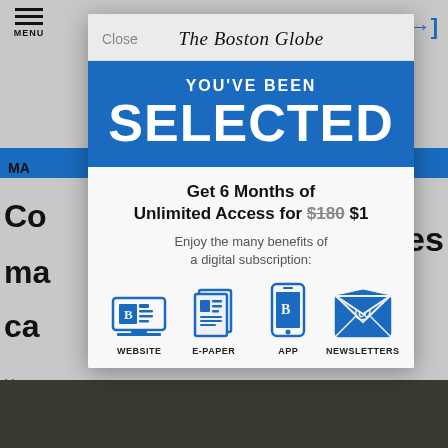[Figure (screenshot): Screenshot of The Boston Globe website with a subscription modal popup overlay. The modal shows 'YOU'VE BEEN SELECTED' in a blue banner, an offer for '6 Months of Unlimited Access for $180 $1', and four benefit icons: WEBSITE, E-PAPER, APP, NEWSLETTERS. Behind the modal is the newspaper site with partial article text visible on the left and right edges, a hamburger menu icon top-left, and a blue arrow icon top-right.]